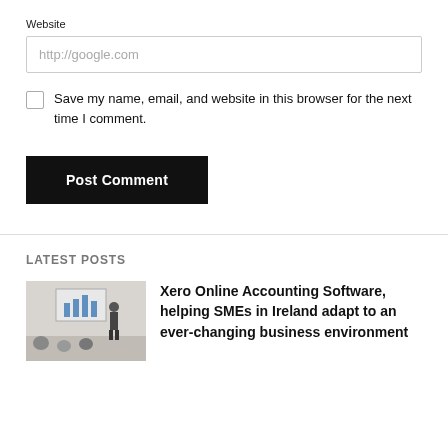Website
http://google.com
Save my name, email, and website in this browser for the next time I comment.
Post Comment
LATEST POSTS
[Figure (photo): People in a meeting room watching a presentation on a screen; presenter standing at the front.]
Xero Online Accounting Software, helping SMEs in Ireland adapt to an ever-changing business environment